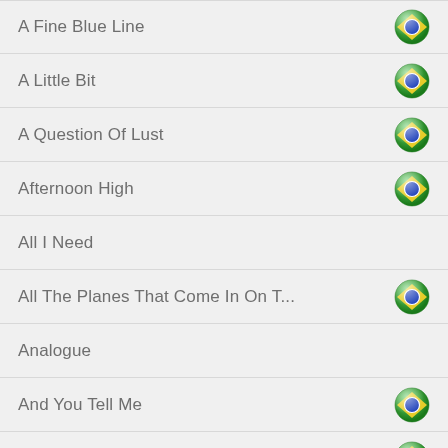A Fine Blue Line
A Little Bit
A Question Of Lust
Afternoon High
All I Need
All The Planes That Come In On T...
Analogue
And You Tell Me